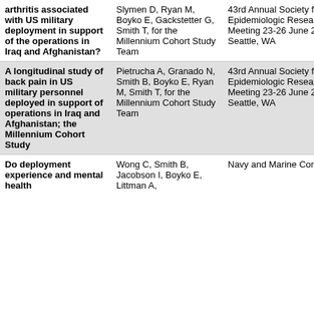| Title | Authors | Venue |
| --- | --- | --- |
| arthritis associated with US military deployment in support of the operations in Iraq and Afghanistan? | Slymen D, Ryan M, Boyko E, Gackstetter G, Smith T, for the Millennium Cohort Study Team | 43rd Annual Society for Epidemiologic Research Meeting 23-26 June 2010, Seattle, WA |
| A longitudinal study of back pain in US military personnel deployed in support of operations in Iraq and Afghanistan; the Millennium Cohort Study | Pietrucha A, Granado N, Smith B, Boyko E, Ryan M, Smith T, for the Millennium Cohort Study Team | 43rd Annual Society for Epidemiologic Research Meeting 23-26 June 2010, Seattle, WA |
| Do deployment experience and mental health... | Wong C, Smith B, Jacobson I, Boyko E, Littman A, | Navy and Marine Corps |